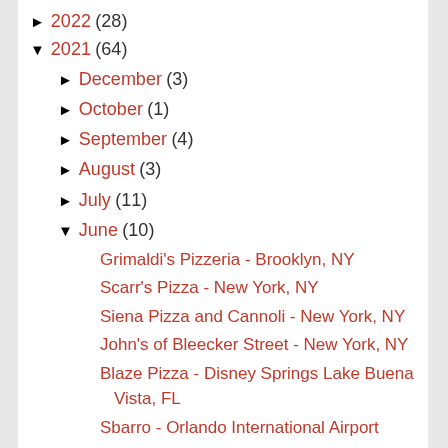► 2022 (28)
▼ 2021 (64)
► December (3)
► October (1)
► September (4)
► August (3)
► July (11)
▼ June (10)
Grimaldi's Pizzeria - Brooklyn, NY
Scarr's Pizza - New York, NY
Siena Pizza and Cannoli - New York, NY
John's of Bleecker Street - New York, NY
Blaze Pizza - Disney Springs Lake Buena Vista, FL
Sbarro - Orlando International Airport
Dominick's Pizza - Chicago, IL (partial)